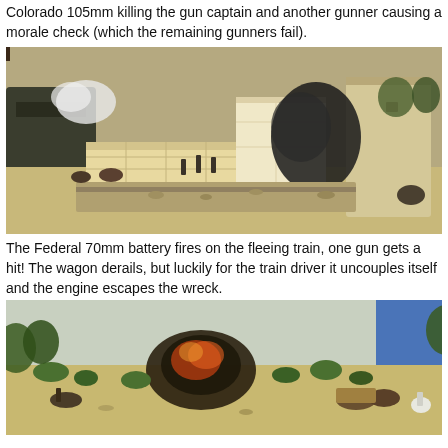Colorado 105mm killing the gun captain and another gunner causing a morale check (which the remaining gunners fail).
[Figure (photo): Miniature wargame scene showing military figures, model buildings with sandy/adobe walls, a ruined tower, soldiers positioned behind a stone wall, and horses with riders on a battlefield terrain.]
The Federal 70mm battery fires on the fleeing train, one gun gets a hit! The wagon derails, but luckily for the train driver it uncouples itself and the engine escapes the wreck.
[Figure (photo): Miniature wargame scene showing a derailed wagon with an explosion effect, surrounded by desert terrain with shrubs, horses, and figures on a sandy battlefield.]